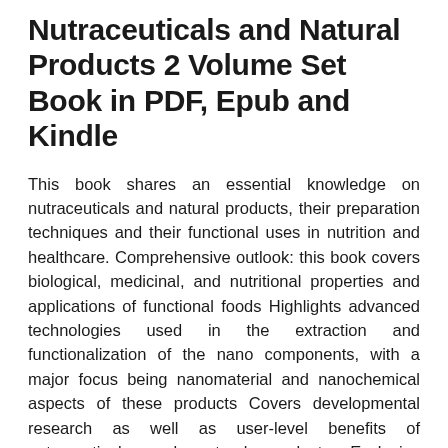Nutraceuticals and Natural Products 2 Volume Set Book in PDF, Epub and Kindle
This book shares an essential knowledge on nutraceuticals and natural products, their preparation techniques and their functional uses in nutrition and healthcare. Comprehensive outlook: this book covers biological, medicinal, and nutritional properties and applications of functional foods Highlights advanced technologies used in the extraction and functionalization of the nano components, with a major focus being nanomaterial and nanochemical aspects of these products Covers developmental research as well as user-level benefits of nutraceuticals and natural products Exclusive discussions of market analysis, quality assurance, and regulations of